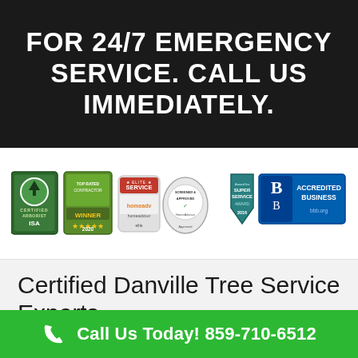FOR 24/7 EMERGENCY SERVICE. CALL US IMMEDIATELY.
[Figure (logo): Row of six certification and award badges: ISA certified arborist badge, Top Rated/Winner 2020 HomeAdvisor badge, Elite Service HomeAdvisor badge, Screened & Approved HomeAdvisor badge, Super Service Award 2016 badge, BBB Accredited Business badge]
Certified Danville Tree Service Experts
Call Us Today! 859-710-6512